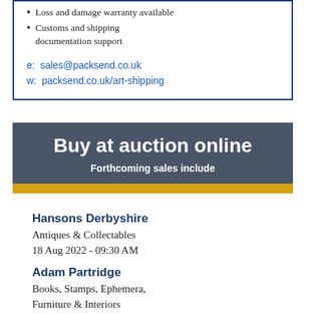Loss and damage warranty available
Customs and shipping documentation support
e: sales@packsend.co.uk
w: packsend.co.uk/art-shipping
Buy at auction online
Forthcoming sales include
Hansons Derbyshire
Antiques & Collectables
18 Aug 2022 - 09:30 AM
Adam Partridge
Books, Stamps, Ephemera, Furniture & Interiors
18 Aug 2022 - 10:00 AM